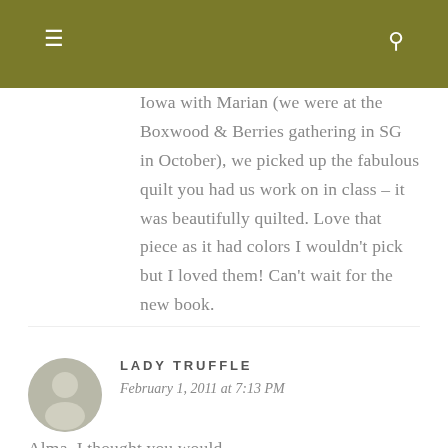☰  🔍
Iowa with Marian (we were at the Boxwood & Berries gathering in SG in October), we picked up the fabulous quilt you had us work on in class – it was beautifully quilted. Love that piece as it had colors I wouldn't pick but I loved them! Can't wait for the new book.
Reply
LADY TRUFFLE
February 1, 2011 at 7:13 PM
Alma, I thought you would